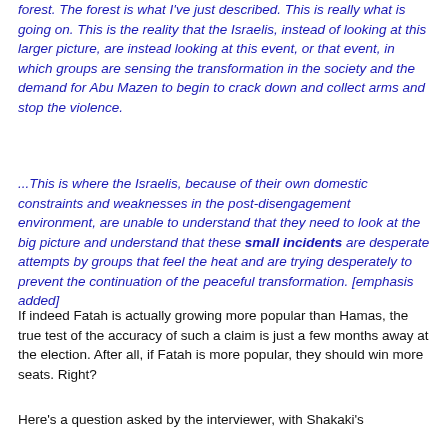forest. The forest is what I've just described. This is really what is going on. This is the reality that the Israelis, instead of looking at this larger picture, are instead looking at this event, or that event, in which groups are sensing the transformation in the society and the demand for Abu Mazen to begin to crack down and collect arms and stop the violence.
...This is where the Israelis, because of their own domestic constraints and weaknesses in the post-disengagement environment, are unable to understand that they need to look at the big picture and understand that these small incidents are desperate attempts by groups that feel the heat and are trying desperately to prevent the continuation of the peaceful transformation. [emphasis added]
If indeed Fatah is actually growing more popular than Hamas, the true test of the accuracy of such a claim is just a few months away at the election. After all, if Fatah is more popular, they should win more seats. Right?
Here's a question asked by the interviewer, with Shakaki's